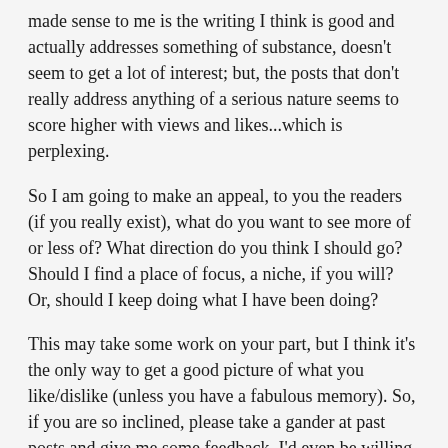made sense to me is the writing I think is good and actually addresses something of substance, doesn't seem to get a lot of interest; but, the posts that don't really address anything of a serious nature seems to score higher with views and likes...which is perplexing.
So I am going to make an appeal, to you the readers (if you really exist), what do you want to see more of or less of? What direction do you think I should go? Should I find a place of focus, a niche, if you will? Or, should I keep doing what I have been doing?
This may take some work on your part, but I think it's the only way to get a good picture of what you like/dislike (unless you have a fabulous memory). So, if you are so inclined, please take a gander at past posts and give me some feedback. I'd even be willing to do the same for you if you find yourself in a similar funk.
Posted in Blogging, Life, Media, Reviews and tagged